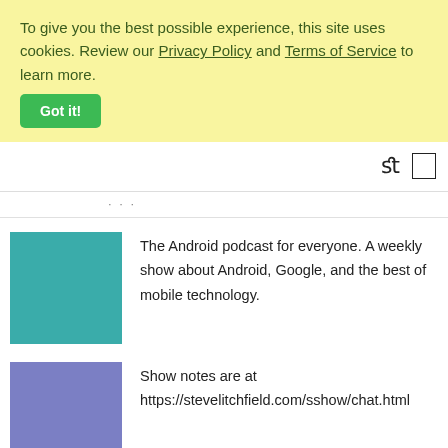To give you the best possible experience, this site uses cookies. Review our Privacy Policy and Terms of Service to learn more.
Got it!
[Figure (other): Navigation bar with search and menu icons]
[Figure (other): Partial navigation text (truncated)]
[Figure (other): Teal square podcast thumbnail]
The Android podcast for everyone. A weekly show about Android, Google, and the best of mobile technology.
[Figure (other): Blue-purple square podcast thumbnail]
Show notes are at https://stevelitchfield.com/sshow/chat.html